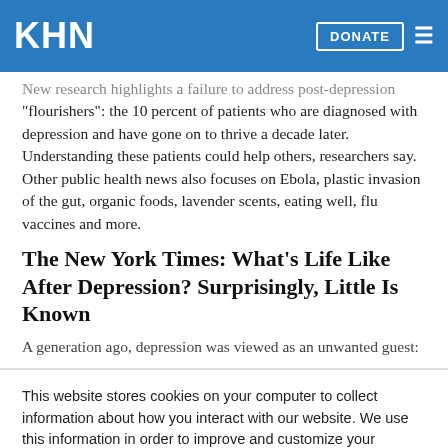KHN | DONATE
New research highlights a failure to address post-depression "flourishers": the 10 percent of patients who are diagnosed with depression and have gone on to thrive a decade later. Understanding these patients could help others, researchers say. Other public health news also focuses on Ebola, plastic invasion of the gut, organic foods, lavender scents, eating well, flu vaccines and more.
The New York Times: What's Life Like After Depression? Surprisingly, Little Is Known
A generation ago, depression was viewed as an unwanted guest:
This website stores cookies on your computer to collect information about how you interact with our website. We use this information in order to improve and customize your browsing experience and for analytics and metrics about our visitors both on this website and other media. To find out more about the cookies we use, see our Privacy Policy.
Accept